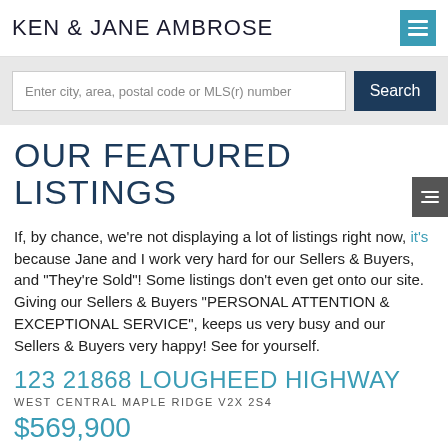KEN & JANE AMBROSE
Enter city, area, postal code or MLS(r) number
OUR FEATURED LISTINGS
If, by chance, we're not displaying a lot of listings right now, it's because Jane and I work very hard for our Sellers & Buyers, and "They're Sold"! Some listings don't even get onto our site. Giving our Sellers & Buyers "PERSONAL ATTENTION & EXCEPTIONAL SERVICE", keeps us very busy and our Sellers & Buyers very happy! See for yourself.
123 21868 LOUGHEED HIGHWAY
WEST CENTRAL MAPLE RIDGE V2X 2S4
$569,900
RESIDENTIAL DETACHED BEDS 4 BATHS 4.0 3,700 SQ. FT. BUILT 2005